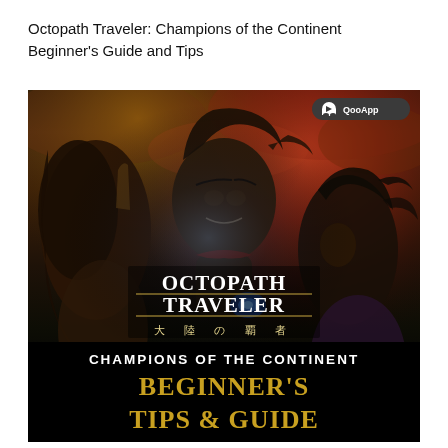Octopath Traveler: Champions of the Continent Beginner's Guide and Tips
[Figure (illustration): Cover art for Octopath Traveler: Champions of the Continent showing three dark fantasy characters with dramatic lighting, featuring text overlays: OCTOPATH TRAVELER, 大陸の覇者, CHAMPIONS OF THE CONTINENT, BEGINNER'S TIPS & GUIDE. QooApp logo in top-right corner.]